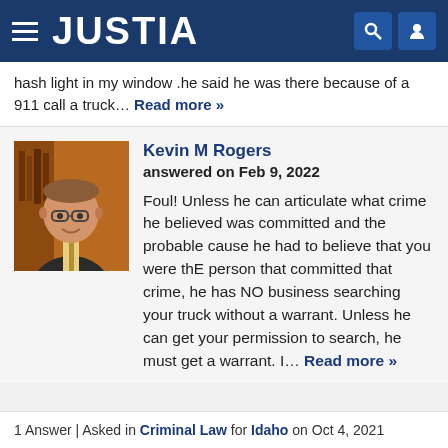JUSTIA
hash light in my window .he said he was there because of a 911 call a truck... Read more »
Kevin M Rogers
answered on Feb 9, 2022

Foul! Unless he can articulate what crime he believed was committed and the probable cause he had to believe that you were thE person that committed that crime, he has NO business searching your truck without a warrant. Unless he can get your permission to search, he must get a warrant. I... Read more »
1 Answer | Asked in Criminal Law for Idaho on Oct 4, 2021